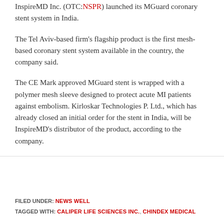InspireMD Inc. (OTC:NSPR) launched its MGuard coronary stent system in India.
The Tel Aviv-based firm's flagship product is the first mesh-based coronary stent system available in the country, the company said.
The CE Mark approved MGuard stent is wrapped with a polymer mesh sleeve designed to protect acute MI patients against embolism. Kirloskar Technologies P. Ltd., which has already closed an initial order for the stent in India, will be InspireMD's distributor of the product, according to the company.
FILED UNDER: NEWS WELL
TAGGED WITH: CALIPER LIFE SCIENCES INC., CHINDEX MEDICAL